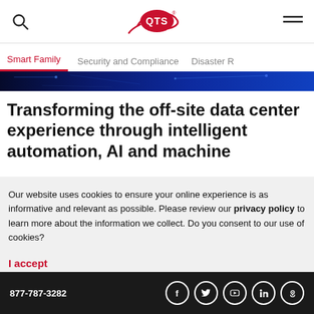QTS logo, search icon, menu icon
Smart Family | Security and Compliance | Disaster R
[Figure (photo): Dark blue tech background hero image strip]
Transforming the off-site data center experience through intelligent automation, AI and machine
Our website uses cookies to ensure your online experience is as informative and relevant as possible. Please review our privacy policy to learn more about the information we collect. Do you consent to our use of cookies?
I accept
877-787-3282  [Facebook] [Twitter] [YouTube] [LinkedIn] [Podcast]